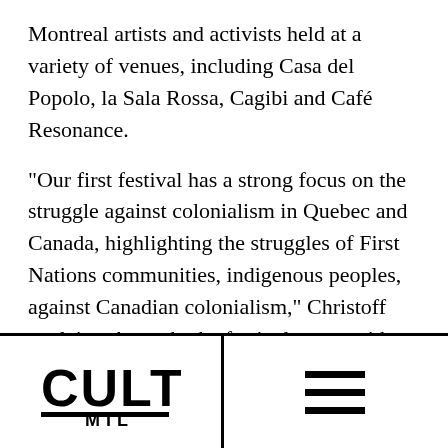Montreal artists and activists held at a variety of venues, including Casa del Popolo, la Sala Rossa, Cagibi and Café Resonance.
“Our first festival has a strong focus on the struggle against colonialism in Quebec and Canada, highlighting the struggles of First Nations communities, indigenous peoples, against Canadian colonialism,” Christoff explains. As such, the festival opens with a benefit concert for the Missing Justice campaign for missing and murdered aboriginal women
[Figure (logo): CULT MTL logo in black and white with stylized block letters and underline]
[Figure (other): Hamburger menu icon with three horizontal black lines]